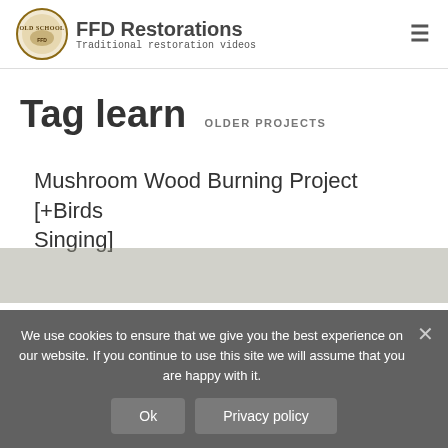FFD Restorations — Traditional restoration videos
Tag learn
OLDER PROJECTS
Mushroom Wood Burning Project [+Birds Singing]
We use cookies to ensure that we give you the best experience on our website. If you continue to use this site we will assume that you are happy with it.